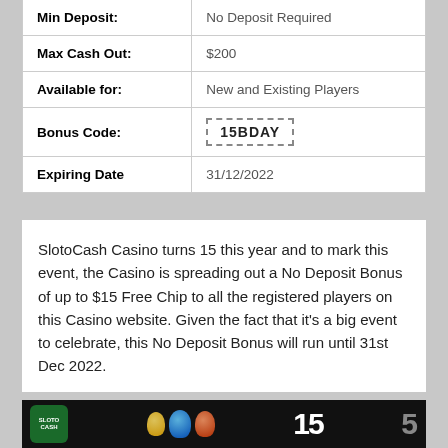| Min Deposit: | No Deposit Required |
| Max Cash Out: | $200 |
| Available for: | New and Existing Players |
| Bonus Code: | 15BDAY |
| Expiring Date | 31/12/2022 |
SlotoCash Casino turns 15 this year and to mark this event, the Casino is spreading out a No Deposit Bonus of up to $15 Free Chip to all the registered players on this Casino website. Given the fact that it's a big event to celebrate, this No Deposit Bonus will run until 31st Dec 2022.
[Figure (photo): SlotoCash Casino promotional image showing the logo and number 15 on dark background with colorful characters]